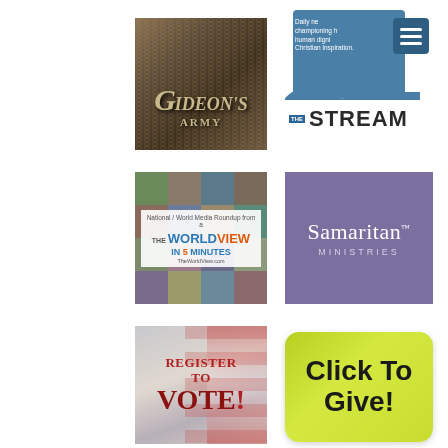[Figure (logo): Gideon's Army logo with sepia/brown background and metallic text]
[Figure (logo): The Stream logo with blue background, menu icon, and tagline about daily news championing human dignity and Christian inspiration]
[Figure (logo): The WorldView in 5 Minutes logo with photo collage background]
[Figure (logo): Samaritan Ministries logo with purple background and white text]
[Figure (logo): Register to Vote banner with American flag background]
[Figure (logo): Click To Give button with yellow-green background]